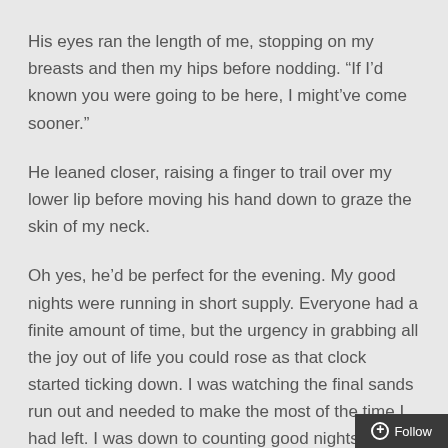His eyes ran the length of me, stopping on my breasts and then my hips before nodding. “If I’d known you were going to be here, I might’ve come sooner.”
He leaned closer, raising a finger to trail over my lower lip before moving his hand down to graze the skin of my neck.
Oh yes, he’d be perfect for the evening. My good nights were running in short supply. Everyone had a finite amount of time, but the urgency in grabbing all the joy out of life you could rose as that clock started ticking down. I was watching the final sands run out and needed to make the most of the time I had left. I was down to counting good nights, and I planned on having as many as possible.